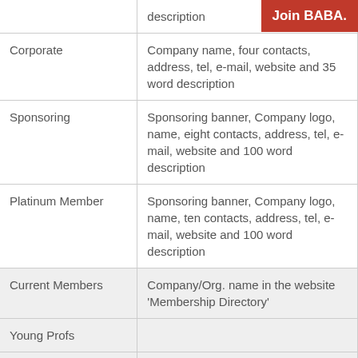| Membership Type | Description |
| --- | --- |
|  | description |
| Corporate | Company name, four contacts, address, tel, e-mail, website and 35 word description |
| Sponsoring | Sponsoring banner, Company logo, name, eight contacts, address, tel, e-mail, website and 100 word description |
| Platinum Member | Sponsoring banner, Company logo, name, ten contacts, address, tel, e-mail, website and 100 word description |
| Current Members | Company/Org. name in the website 'Membership Directory' |
| Young Profs |  |
| Individuals |  |